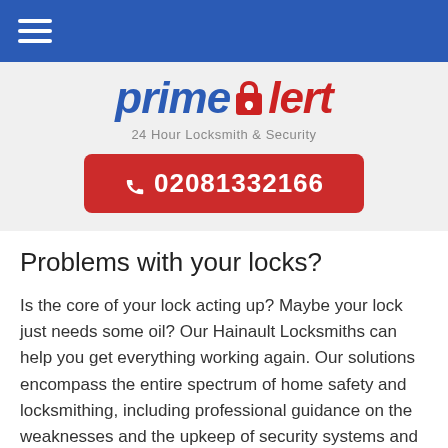≡ (navigation menu)
[Figure (logo): PrimeAlert logo — 'prime' in dark blue italic bold, 'a' as a red padlock icon, 'lert' in red italic bold. Subtitle: '24 Hour Locksmith & Security' in grey.]
📞 02081332166
Problems with your locks?
Is the core of your lock acting up? Maybe your lock just needs some oil? Our Hainault Locksmiths can help you get everything working again. Our solutions encompass the entire spectrum of home safety and locksmithing, including professional guidance on the weaknesses and the upkeep of security systems and locks. We use the best locks and other security hardware in the market; because only the best will do. We can solve your